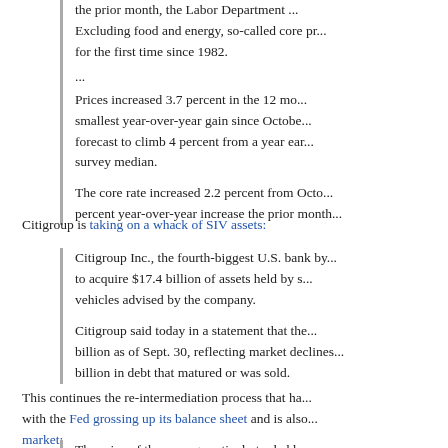the prior month, the Labor Department ... Excluding food and energy, so-called core pr... for the first time since 1982.
...
Prices increased 3.7 percent in the 12 mo... smallest year-over-year gain since October... forecast to climb 4 percent from a year ear... survey median.
The core rate increased 2.2 percent from Octo... percent year-over-year increase the prior month...
Citigroup is taking on a whack of SIV assets:
Citigroup Inc., the fourth-biggest U.S. bank by... to acquire $17.4 billion of assets held by s... vehicles advised by the company.
Citigroup said today in a statement that the... billion as of Sept. 30, reflecting market declines... billion in debt that matured or was sold.
This continues the re-intermediation process that h... with the Fed grossing up its balance sheet and is also... market:
The price of the average actively traded levera... to 71.2 cents on the dollar since Nov. 13, acc... Poor's LCD. Prices have slumped 4.4 cents si...